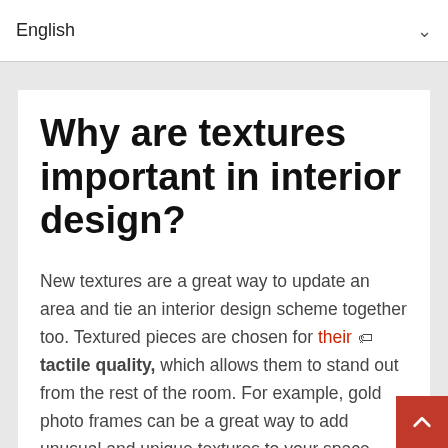English
Why are textures important in interior design?
New textures are a great way to update an area and tie an interior design scheme together too. Textured pieces are chosen for their 🏷 tactile quality, which allows them to stand out from the rest of the room. For example, gold photo frames can be a great way to add unusual and unique textures to your space. Additionally, the